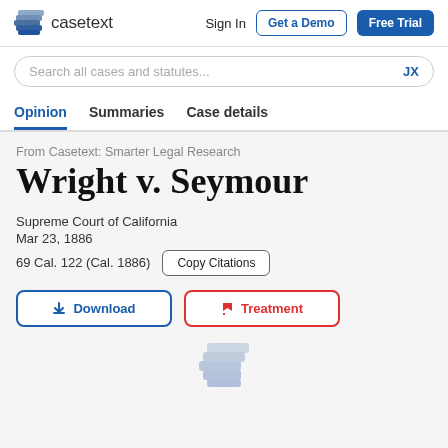casetext  Sign In  Get a Demo  Free Trial
Search all cases and statutes...  JX
Opinion  Summaries  Case details
From Casetext: Smarter Legal Research
Wright v. Seymour
Supreme Court of California
Mar 23, 1886
69 Cal. 122 (Cal. 1886)
Download
Treatment